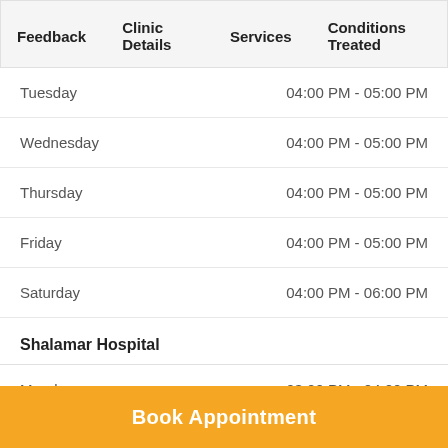Feedback   Clinic Details   Services   Conditions Treated
Tuesday   04:00 PM - 05:00 PM
Wednesday   04:00 PM - 05:00 PM
Thursday   04:00 PM - 05:00 PM
Friday   04:00 PM - 05:00 PM
Saturday   04:00 PM - 06:00 PM
Shalamar Hospital
Monday   03:00 PM - 04:00 PM
Book Appointment